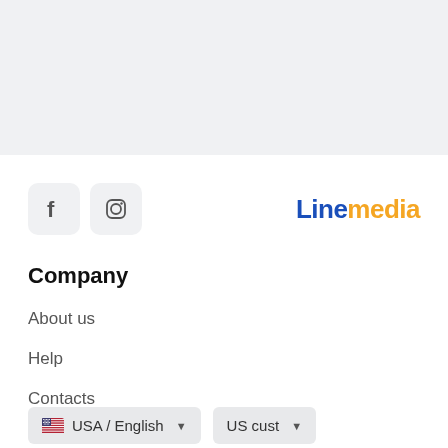[Figure (logo): Linemedia logo with 'Line' in blue and 'media' in orange/yellow]
[Figure (illustration): Facebook icon in a rounded square gray button]
[Figure (illustration): Instagram icon in a rounded square gray button]
Company
About us
Help
Contacts
USA / English
US cust